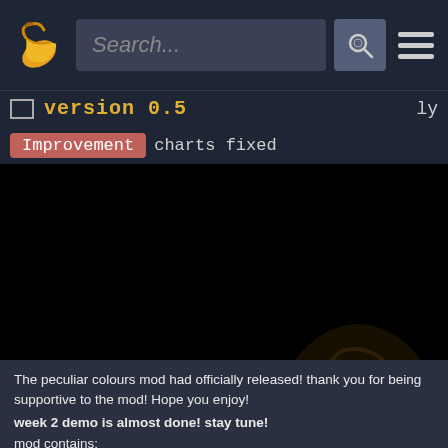Search...
version 0.5
Improvement   charts fixed
[Figure (screenshot): Black video/image area]
The peculiar colours mod had officially released! thank you for being supportive to the mod! Hope you enjoy!
week 2 demo is almost done! stay tune!
mod contains:
2 new weeks
wow! a lore!
custom main menu
6 new songs later in the full update!
voicelines rev!! (full update)